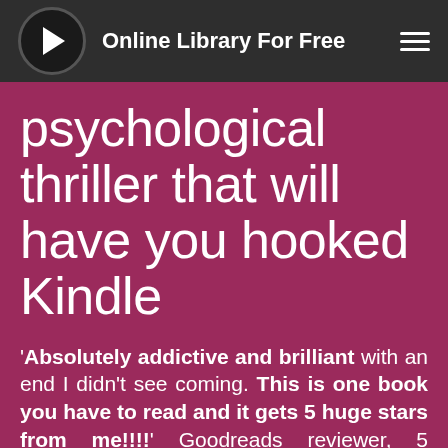Online Library For Free
psychological thriller that will have you hooked Kindle
'Absolutely addictive and brilliant with an end I didn't see coming. This is one book you have to read and it gets 5 huge stars from me!!!!' Goodreads reviewer, 5 stars'Are you my mummy?'Tessa Markham returns home to find a child in her